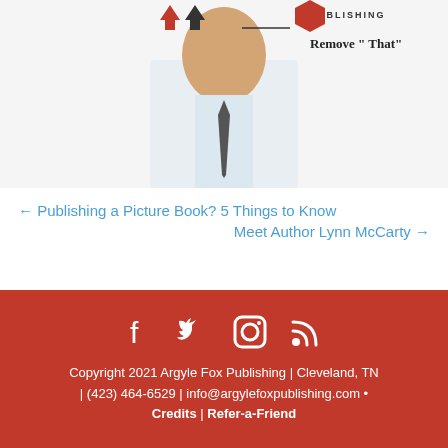[Figure (photo): Photo of a man in a white shirt with a tie, partially visible, with Argyle Fox Publishing logo and text 'Remove "That"' in the upper portion of the image]
← Publishing a Picture Book? 5 Things to Know
Meet Author Lynn McCarty →
Copyright 2021 Argyle Fox Publishing | Cleveland, TN | (423) 464-6529 | info@argylefoxpublishing.com • Credits | Refer-a-Friend